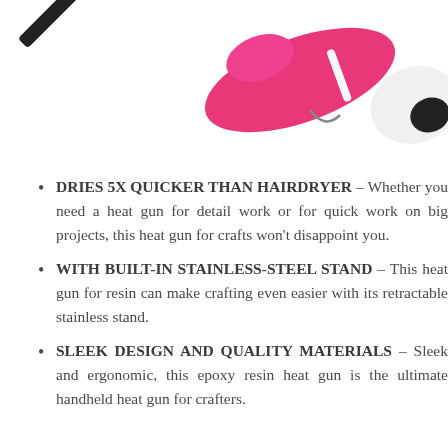[Figure (photo): Product photo showing a pink and white heat gun with a retractable stainless steel stand, and a second black curling iron-type tool partially visible in the upper left corner. The pink hair dryer-style heat gun has a white nozzle.]
DRIES 5X QUICKER THAN HAIRDRYER – Whether you need a heat gun for detail work or for quick work on big projects, this heat gun for crafts won't disappoint you.
WITH BUILT-IN STAINLESS-STEEL STAND – This heat gun for resin can make crafting even easier with its retractable stainless stand.
SLEEK DESIGN AND QUALITY MATERIALS – Sleek and ergonomic, this epoxy resin heat gun is the ultimate handheld heat gun for crafters.